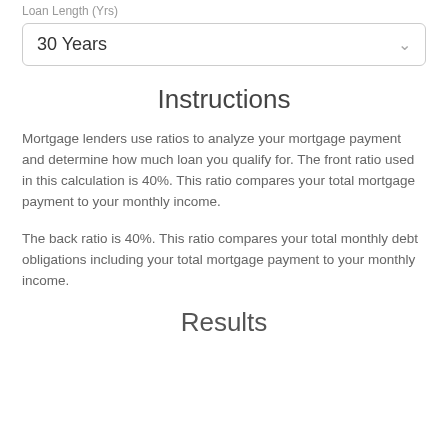Loan Length (Yrs)
30 Years
Instructions
Mortgage lenders use ratios to analyze your mortgage payment and determine how much loan you qualify for. The front ratio used in this calculation is 40%. This ratio compares your total mortgage payment to your monthly income.
The back ratio is 40%. This ratio compares your total monthly debt obligations including your total mortgage payment to your monthly income.
Results